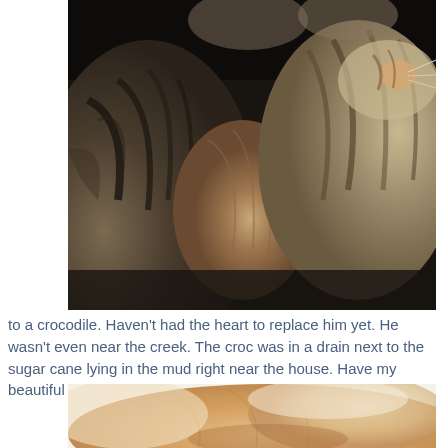[Figure (photo): Close-up photograph of a tabby cat's fur, showing striped brown and grey fur patterns with the cat curled up or lying down. The image is taken at very close range showing the texture of the fur.]
to a crocodile. Haven't had the heart to replace him yet.  He wasn't even near the creek. The croc was in a drain next to the sugar cane lying in the mud right near the house. Have my beautiful cats though.
[Figure (photo): Close-up photograph of an orange/ginger cat's fur, showing the soft fur texture in warm tones of orange and cream.]